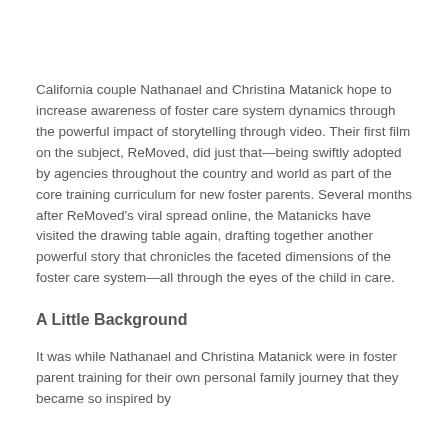California couple Nathanael and Christina Matanick hope to increase awareness of foster care system dynamics through the powerful impact of storytelling through video. Their first film on the subject, ReMoved, did just that—being swiftly adopted by agencies throughout the country and world as part of the core training curriculum for new foster parents. Several months after ReMoved's viral spread online, the Matanicks have visited the drawing table again, drafting together another powerful story that chronicles the faceted dimensions of the foster care system—all through the eyes of the child in care.
A Little Background
It was while Nathanael and Christina Matanick were in foster parent training for their own personal family journey that they became so inspired by